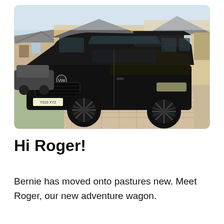[Figure (photo): A black VW Transporter van parked on a driveway in front of a residential house. The van has large black alloy wheels and a sporty body kit. Houses and another car are visible in the background.]
Hi Roger!
Bernie has moved onto pastures new. Meet Roger, our new adventure wagon.